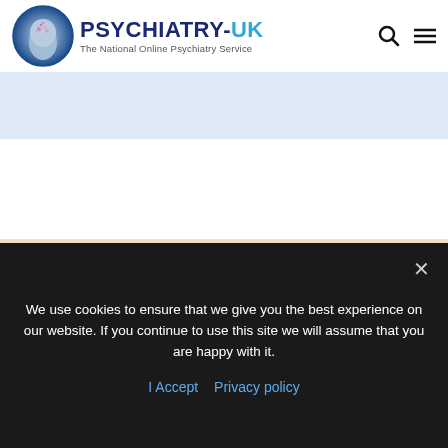[Figure (logo): Psychiatry-UK logo: circular brain/head illustration with text 'PSYCHIATRY-UK The National Online Psychiatry Service']
[Figure (illustration): Light blue banner/header section]
INNOVATIVE
We use cookies to ensure that we give you the best experience on our website. If you continue to use this site we will assume that you are happy with it.
I Accept   Privacy policy